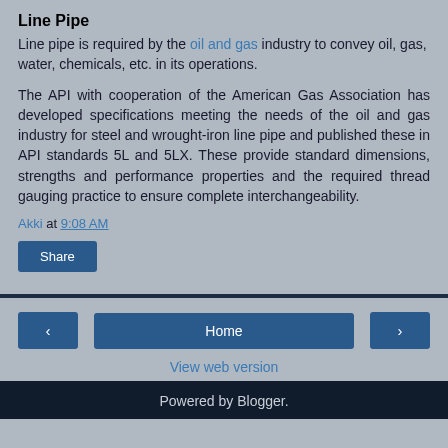Line Pipe
Line pipe is required by the oil and gas industry to convey oil, gas, water, chemicals, etc. in its operations.
The API with cooperation of the American Gas Association has developed specifications meeting the needs of the oil and gas industry for steel and wrought-iron line pipe and published these in API standards 5L and 5LX. These provide standard dimensions, strengths and performance properties and the required thread gauging practice to ensure complete interchangeability.
Akki at 9:08 AM
Share
Powered by Blogger.